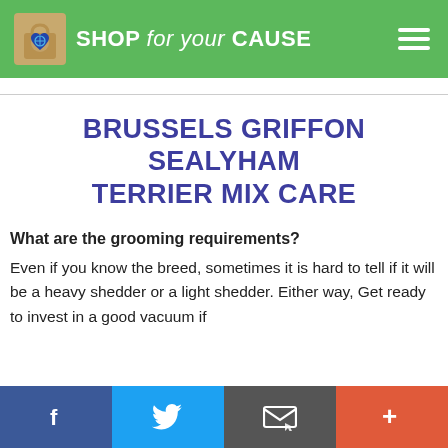SHOP for your CAUSE
BRUSSELS GRIFFON SEALYHAM TERRIER MIX CARE
What are the grooming requirements?
Even if you know the breed, sometimes it is hard to tell if it will be a heavy shedder or a light shedder. Either way, Get ready to invest in a good vacuum if
f  [twitter]  [email]  +